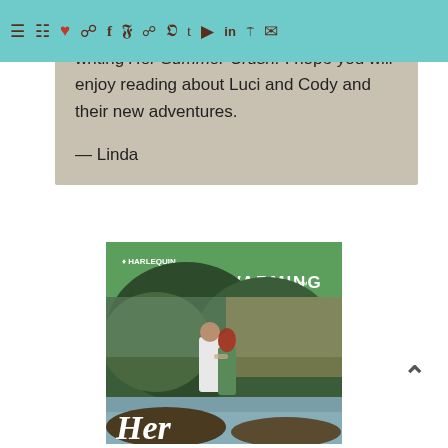Navigation bar with menu and social icons
writing Her Summer Crush. I hope you will enjoy reading about Luci and Cody and their new adventures.

— Linda
[Figure (illustration): Book cover of Harlequin Heartwarming novel 'Her Summer Crush' showing a couple walking along a scenic coastal landscape with green mountains and a sunset. Published by Harlequin Heartwarming.]